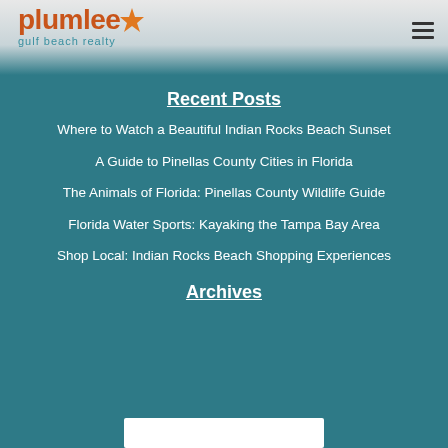[Figure (logo): Plumlee Gulf Beach Realty logo with orange text and teal subtitle, orange star accent]
Recent Posts
Where to Watch a Beautiful Indian Rocks Beach Sunset
A Guide to Pinellas County Cities in Florida
The Animals of Florida: Pinellas County Wildlife Guide
Florida Water Sports: Kayaking the Tampa Bay Area
Shop Local: Indian Rocks Beach Shopping Experiences
Archives